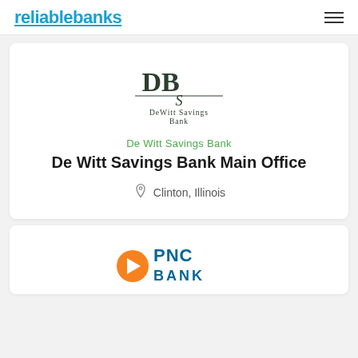reliablebanks
[Figure (logo): DeWitt Savings Bank logo with 'DB' monogram and full name]
De Witt Savings Bank
De Witt Savings Bank Main Office
Clinton, Illinois
[Figure (logo): PNC Bank logo with orange/blue triangle icon and PNC BANK text]